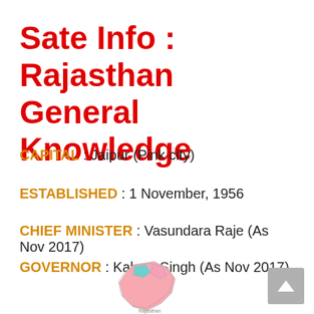Sate Info : Rajasthan General Knowledge
CAPITAL : Jaipur (Pink city)
ESTABLISHED : 1 November, 1956
CHIEF MINISTER : Vasundara Raje (As Nov 2017)
GOVERNOR : Kalyan Singh (As Nov 2017)
[Figure (map): Partial map/outline of Rajasthan state shown at bottom center of page]